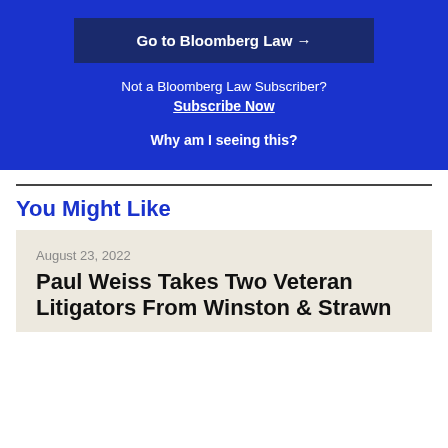[Figure (other): Blue Bloomberg Law subscription prompt section with 'Go to Bloomberg Law' button, 'Not a Bloomberg Law Subscriber? Subscribe Now' text, and 'Why am I seeing this?' link]
You Might Like
August 23, 2022
Paul Weiss Takes Two Veteran Litigators From Winston & Strawn